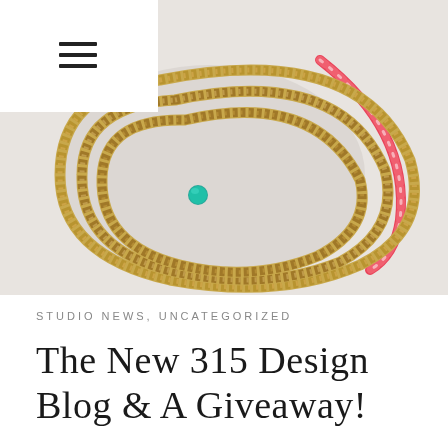≡
[Figure (photo): Close-up photo of beaded bracelets on a white surface: multiple strands of small gold/brass seed beads coiled together, one strand of red/pink patterned disc beads, and a single turquoise accent bead visible among the gold beads.]
STUDIO NEWS, UNCATEGORIZED
The New 315 Design Blog & A Giveaway!